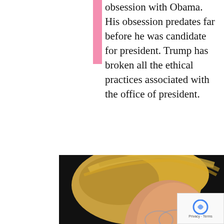obsession with Obama. His obsession predates far before he was candidate for president. Trump has broken all the ethical practices associated with the office of president.
[Figure (photo): Close-up profile photo of a man with blonde windswept hair against a dark background]
[Figure (screenshot): Popup overlay with text 'Subscribe Today!' and InnerKwest logo with tagline 'THERE IS POWER IN UNITY' and link 'Subscribe to InnerKwest Today!']
rump h
ease help